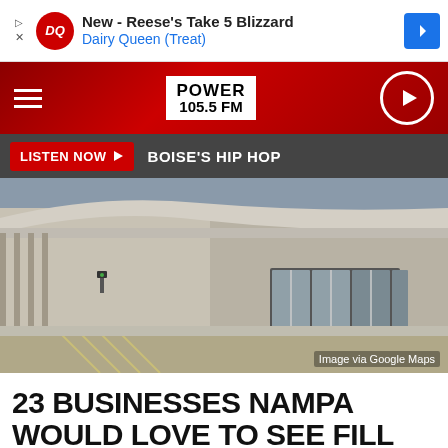[Figure (screenshot): Dairy Queen advertisement banner: DQ logo, text 'New - Reese's Take 5 Blizzard' and 'Dairy Queen (Treat)', blue direction arrow icon]
POWER 105.5 FM — navigation bar with hamburger menu and play button
LISTEN NOW ▶  BOISE'S HIP HOP
[Figure (photo): Street-level photo of an abandoned Kmart building exterior with empty parking lot, grey sky, and large glass entrance doors. Image via Google Maps.]
Image via Google Maps
23 BUSINESSES NAMPA WOULD LOVE TO SEE FILL ITS ABANDONED KMART